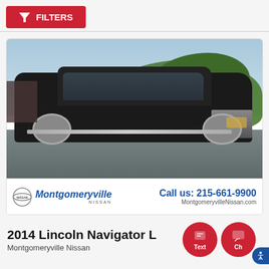FILTERS
[Figure (photo): 2014 Lincoln Navigator L SUV in dark gray/black, parked in a lot with trees and sky in background. Dealer overlay at bottom shows Montgomeryville Nissan logo and phone number 215-661-9900.]
2014 Lincoln Navigator L
Montgomeryville Nissan